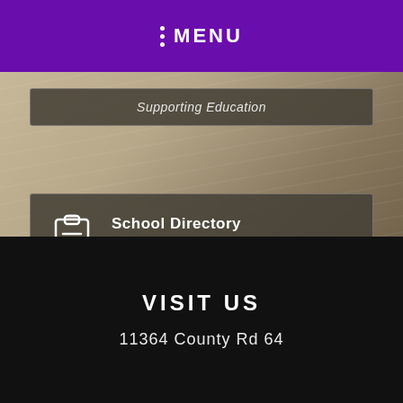MENU
Supporting Education
School Directory
Find a Teacher or Faculty Member
My School Bucks
Online School Payments
VISIT US
11364 County Rd 64